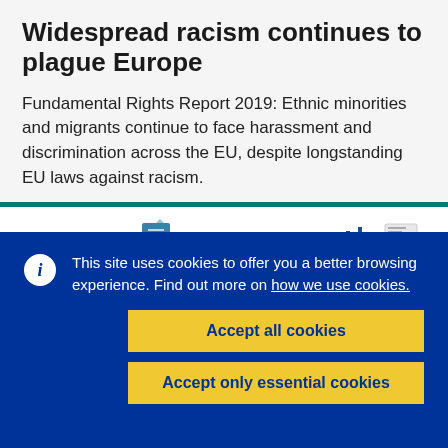Widespread racism continues to plague Europe
Fundamental Rights Report 2019: Ethnic minorities and migrants continue to face harassment and discrimination across the EU, despite longstanding EU laws against racism.
[Figure (screenshot): Partial screenshot of a document page showing text 'support equality and non-discrimination proposed' with icons and a vertical divider, partially obscured by cookie overlay.]
This site uses cookies to offer you a better browsing experience. Find out more on how we use cookies.
Accept all cookies
Accept only essential cookies